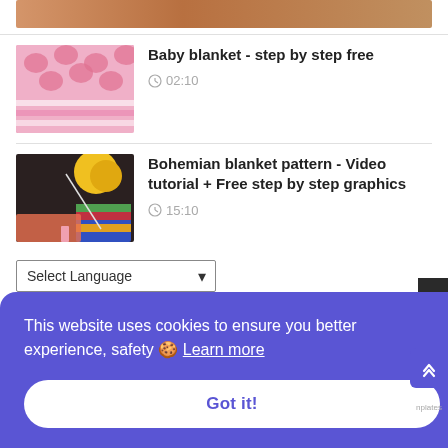[Figure (screenshot): Partial thumbnail of a blanket at top of page]
Baby blanket - step by step free
02:10
Bohemian blanket pattern - Video tutorial + Free step by step graphics
15:10
Select Language
Powered by Google Translate
This website uses cookies to ensure you better experience, safety 🍪 Learn more
Got it!